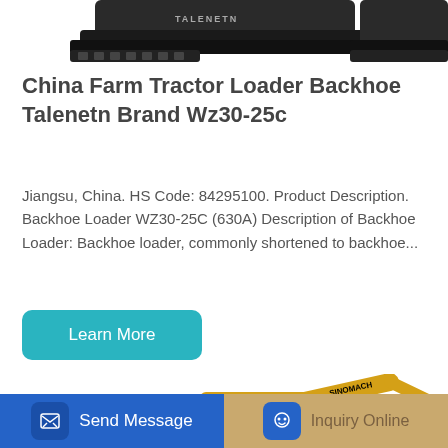[Figure (photo): Cropped top portion of a farm tractor/backhoe loader machine, dark colored, against white background]
China Farm Tractor Loader Backhoe Talenetn Brand Wz30-25c
Jiangsu, China. HS Code: 84295100. Product Description. Backhoe Loader WZ30-25C (630A) Description of Backhoe Loader: Backhoe loader, commonly shortened to backhoe...
[Figure (other): Blue rounded rectangle button labeled 'Learn More']
[Figure (photo): Yellow Sinomach excavator/crawler machine, partially visible, bottom portion of page]
Send Message | Inquiry Online